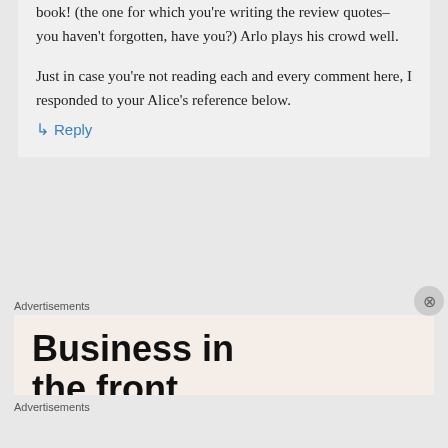book! (the one for which you’re writing the review quotes–you haven't forgotten, have you?) Arlo plays his crowd well.
Just in case you’re not reading each and every comment here, I responded to your Alice’s reference below.
↳ Reply
Advertisements
[Figure (other): Advertisement banner with text 'Business in the front...' on a peach/salmon background with a colorful gradient stripe at the bottom]
[Figure (other): Close button (X) circle]
Advertisements